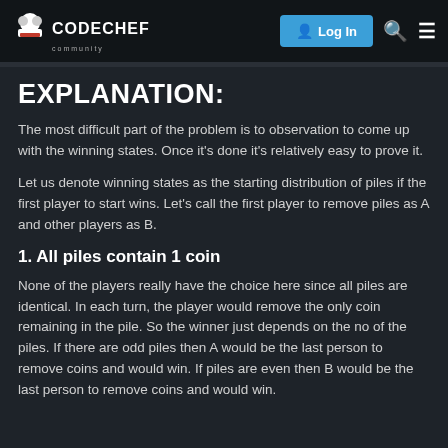CodeChef | Log In
EXPLANATION:
The most difficult part of the problem is to observation to come up with the winning states. Once it's done it's relatively easy to prove it.
Let us denote winning states as the starting distribution of piles if the first player to start wins. Let's call the first player to remove piles as A and other players as B.
1. All piles contain 1 coin
None of the players really have the choice here since all piles are identical. In each turn, the player would remove the only coin remaining in the pile. So the winner just depends on the no of the piles. If there are odd piles then A would be the last person to remove coins and would win. If piles are even then B would be the last person to remove coins and would win.